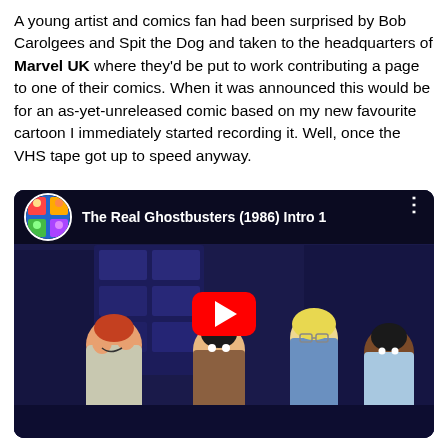A young artist and comics fan had been surprised by Bob Carolgees and Spit the Dog and taken to the headquarters of Marvel UK where they'd be put to work contributing a page to one of their comics. When it was announced this would be for an as-yet-unreleased comic based on my new favourite cartoon I immediately started recording it. Well, once the VHS tape got up to speed anyway.
[Figure (screenshot): YouTube video embed showing 'The Real Ghostbusters (1986) Intro 1' with animated cartoon characters (four Ghostbusters) in the thumbnail, a red YouTube play button in the center, and a channel icon with colorful imagery in the top-left corner.]